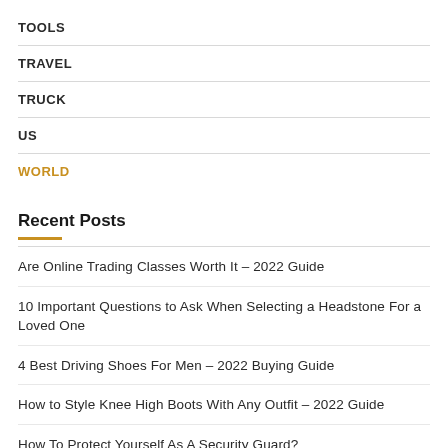TOOLS
TRAVEL
TRUCK
US
WORLD
Recent Posts
Are Online Trading Classes Worth It – 2022 Guide
10 Important Questions to Ask When Selecting a Headstone For a Loved One
4 Best Driving Shoes For Men – 2022 Buying Guide
How to Style Knee High Boots With Any Outfit – 2022 Guide
How To Protect Yourself As A Security Guard?